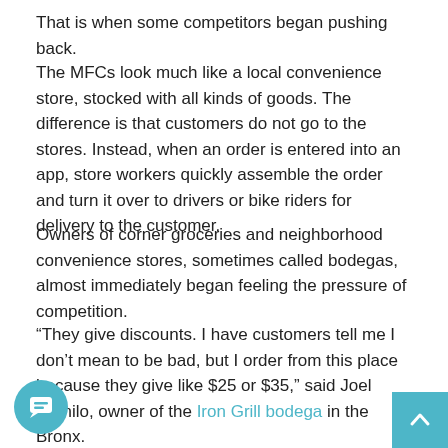That is when some competitors began pushing back.
The MFCs look much like a local convenience store, stocked with all kinds of goods. The difference is that customers do not go to the stores. Instead, when an order is entered into an app, store workers quickly assemble the order and turn it over to drivers or bike riders for delivery to the customer.
Owners of corner groceries and neighborhood convenience stores, sometimes called bodegas, almost immediately began feeling the pressure of competition.
“They give discounts. I have customers tell me I don’t mean to be bad, but I order from this place because they give like $25 or $35,” said Joel Camilo, owner of the Iron Grill bodega in the Bronx.